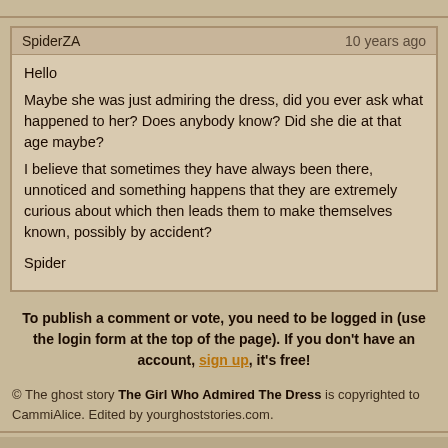SpiderZA   10 years ago
Hello
Maybe she was just admiring the dress, did you ever ask what happened to her? Does anybody know? Did she die at that age maybe?
I believe that sometimes they have always been there, unnoticed and something happens that they are extremely curious about which then leads them to make themselves known, possibly by accident?

Spider
To publish a comment or vote, you need to be logged in (use the login form at the top of the page). If you don't have an account, sign up, it's free!
© The ghost story The Girl Who Admired The Dress is copyrighted to CammiAlice. Edited by yourghoststories.com.
Search this site: